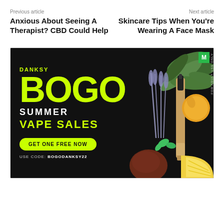Previous article
Anxious About Seeing A Therapist? CBD Could Help
Next article
Skincare Tips When You’re Wearing A Face Mask
[Figure (photo): Advertisement for Danksy BOGO Summer Vape Sales. Dark background with large neon green BOGO text, lavender, sage leaves, citrus fruits, a vape cartridge, and a button reading GET ONE FREE NOW. Use code: BOGODANKSY22. M badge in top right corner.]